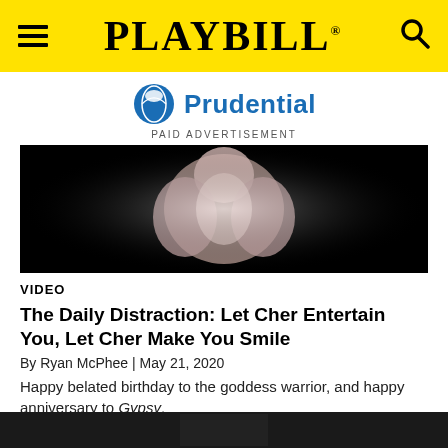PLAYBILL
[Figure (logo): Prudential logo with rock/globe icon and blue text 'Prudential']
PAID ADVERTISEMENT
[Figure (photo): Dark video thumbnail showing glowing hands/mittens against black background]
VIDEO
The Daily Distraction: Let Cher Entertain You, Let Cher Make You Smile
By Ryan McPhee | May 21, 2020
Happy belated birthday to the goddess warrior, and happy anniversary to Gypsy.
[Figure (photo): Bottom cropped photo thumbnail, dark/black tones]